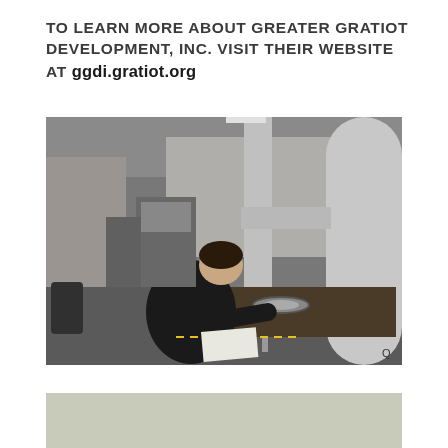TO LEARN MORE ABOUT GREATER GRATIOT DEVELOPMENT, INC. VISIT THEIR WEBSITE AT ggdi.gratiot.org
[Figure (photo): A man in a black shirt leaning over a measurement/inspection machine in a manufacturing facility. Large CMM (coordinate measuring machine) arm is visible in the foreground with a circular part on the table. Industrial machines and workbenches are visible in the background.]
[Figure (photo): Partial view of another image at the bottom of the page showing what appears to be a light green/grey surface, possibly another manufacturing or facility photo.]